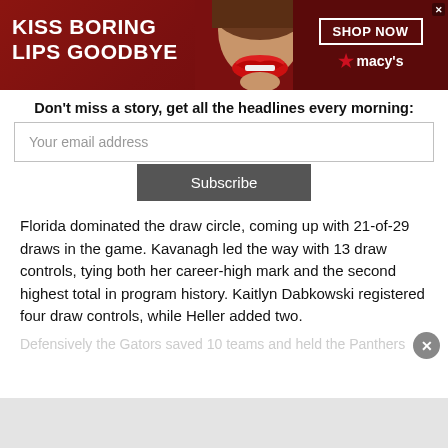[Figure (screenshot): Macy's advertisement banner: red background with bold white text 'KISS BORING LIPS GOODBYE', center image of woman with red lips, right side has 'SHOP NOW' button in white border box and Macy's star logo on dark red background]
Don't miss a story, get all the headlines every morning:
Your email address
Subscribe
Florida dominated the draw circle, coming up with 21-of-29 draws in the game. Kavanagh led the way with 13 draw controls, tying both her career-high mark and the second highest total in program history. Kaitlyn Dabkowski registered four draw controls, while Heller added two.